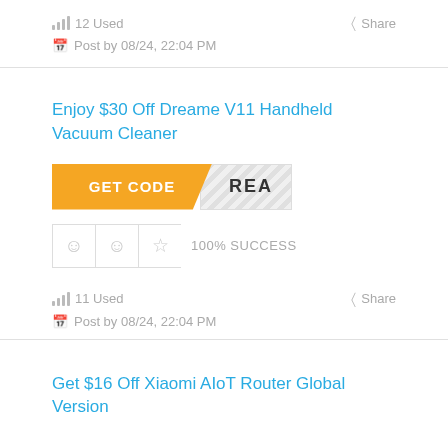12 Used
Share
Post by 08/24, 22:04 PM
Enjoy $30 Off Dreame V11 Handheld Vacuum Cleaner
[Figure (other): GET CODE button in orange with diagonal cut and hatched area showing partial code 'REA']
100% SUCCESS
11 Used
Share
Post by 08/24, 22:04 PM
Get $16 Off Xiaomi AIoT Router Global Version